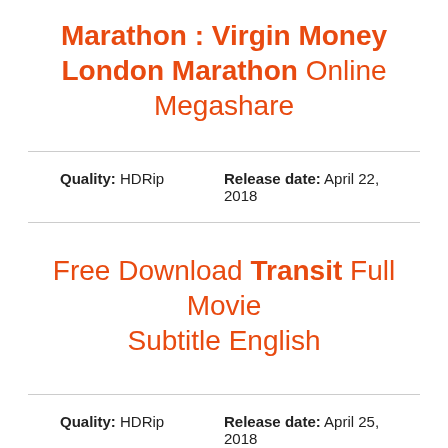Marathon : Virgin Money London Marathon Online Megashare
Quality: HDRip    Release date: April 22, 2018
Free Download Transit Full Movie Subtitle English
Quality: HDRip    Release date: April 25, 2018